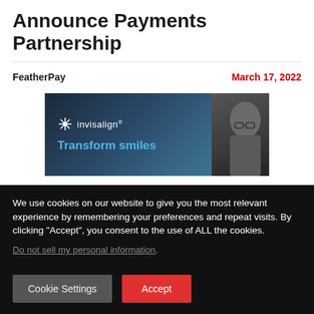Announce Payments Partnership
FeatherPay
March 17, 2022
[Figure (photo): Invisalign advertisement banner showing the Invisalign logo and 'Transform smiles' text alongside a person wearing glasses against a dark blue background]
We use cookies on our website to give you the most relevant experience by remembering your preferences and repeat visits. By clicking “Accept”, you consent to the use of ALL the cookies.
Do not sell my personal information.
Cookie Settings
Accept